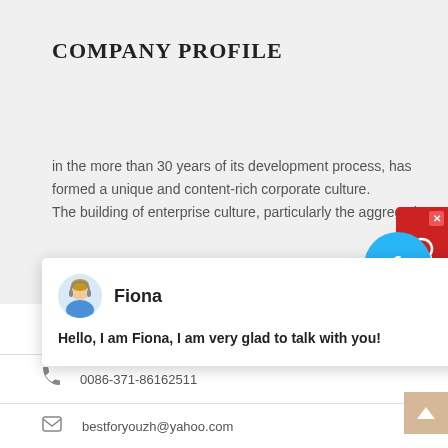COMPANY PROFILE
in the more than 30 years of its development process, has formed a unique and content-rich corporate culture. The building of enterprise culture, particularly the aggregation
[Figure (screenshot): Chat popup with avatar of Fiona, showing message: Hello, I am Fiona, I am very glad to talk with you!]
No.169, Science (Kexue) Avenue,
0086-371-86162511
bestforyouzh@yahoo.com